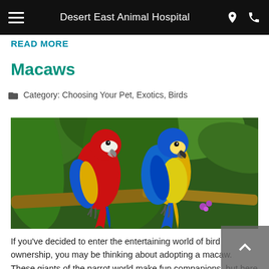Desert East Animal Hospital
READ MORE
Macaws
Category: Choosing Your Pet, Exotics, Birds
[Figure (photo): Two macaws perched on a branch in a tropical setting. A red scarlet macaw on the left and a blue-and-yellow macaw on the right, surrounded by green tropical foliage.]
If you've decided to enter the entertaining world of bird ownership, you may be thinking about adopting a macaw. These giants of the parrot world make fun companions, but here are some things you should consider before making that purchase. What You Should Know About Macaw Ownership Macaws can